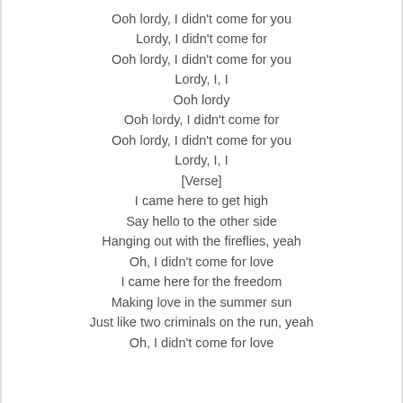Ooh lordy, I didn't come for you
Lordy, I didn't come for
Ooh lordy, I didn't come for you
Lordy, I, I
Ooh lordy
Ooh lordy, I didn't come for
Ooh lordy, I didn't come for you
Lordy, I, I
[Verse]
I came here to get high
Say hello to the other side
Hanging out with the fireflies, yeah
Oh, I didn't come for love
I came here for the freedom
Making love in the summer sun
Just like two criminals on the run, yeah
Oh, I didn't come for love